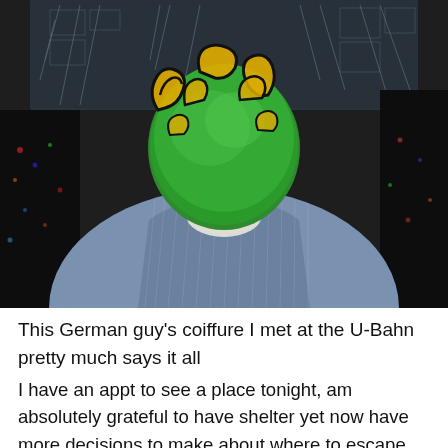[Figure (photo): Back view of a person with elaborately styled hair — green base with yellow and black pattern/design on the scalp — sitting in what appears to be a subway/U-Bahn train. The person wears a blue denim pinstripe jacket and a white undershirt. Dark train seats and window reflections are visible in the background.]
This German guy's coiffure I met at the U-Bahn pretty much says it all
I have an appt to see a place tonight, am absolutely grateful to have shelter yet now have more decisions to make about where to escape to, like a refugee, not of the climate, but of economic challenges. I just reached a wall